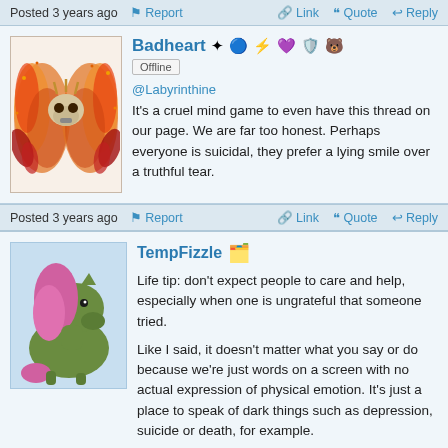Posted 3 years ago  Report  Link  Quote  Reply
Badheart [badges] Offline @Labyrinthine It's a cruel mind game to even have this thread on our page. We are far too honest. Perhaps everyone is suicidal, they prefer a lying smile over a truthful tear.
Posted 3 years ago  Report  Link  Quote  Reply
TempFizzle [badge] Life tip: don't expect people to care and help, especially when one is ungrateful that someone tried. Like I said, it doesn't matter what you say or do because we're just words on a screen with no actual expression of physical emotion. It's just a place to speak of dark things such as depression, suicide or death, for example.
Posted 3 years ago  Report  Link  Quote  Reply